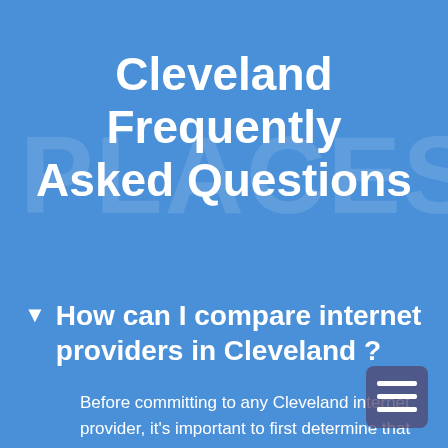Cleveland Frequently Asked Questions
How can I compare internet providers in Cleveland ?
Before committing to any Cleveland internet provider, it's important to first determine that